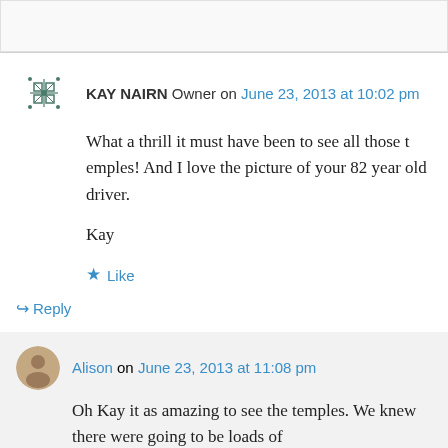KAY NAIRN Owner on June 23, 2013 at 10:02 pm
What a thrill it must have been to see all those temples!  And I love the picture of your 82 year old driver.

Kay
★ Like
↳ Reply
Alison on June 23, 2013 at 11:08 pm
Oh Kay it as amazing to see the temples. We knew there were going to be loads of